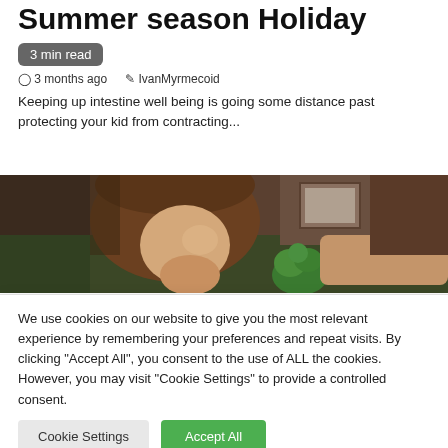Summer season Holiday
3 min read
3 months ago   IvanMyrmecoid
Keeping up intestine well being is going some distance past protecting your kid from contracting...
[Figure (photo): Child with brown hair looking at a green vegetable, with an adult hand visible, set in a domestic interior with bookshelves]
We use cookies on our website to give you the most relevant experience by remembering your preferences and repeat visits. By clicking "Accept All", you consent to the use of ALL the cookies. However, you may visit "Cookie Settings" to provide a controlled consent.